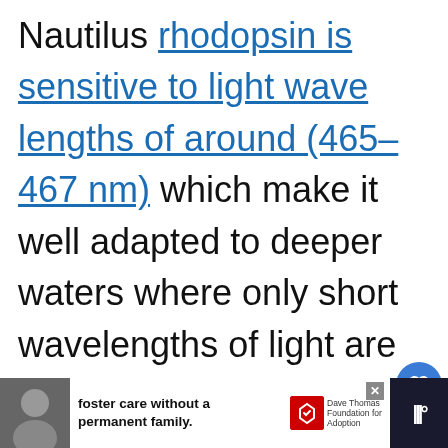Nautilus rhodopsin is sensitive to light wave lengths of around (465–467 nm) which make it well adapted to deeper waters where only short wavelengths of light are available. Longer wavelengths of light (red 700 nm, then orange 650 nm, yellow 590 nm etc.) are
[Figure (screenshot): UI overlay with heart/like button showing count of 2 and a share button]
[Figure (screenshot): What's Next panel: Order Nautilida: Th... with circular thumbnail image]
[Figure (screenshot): Advertisement banner: foster care without a permanent family. Dave Thomas Foundation for Adoption. Close (X) button visible. Left side shows partial photo of woman. Right side shows music app icon.]